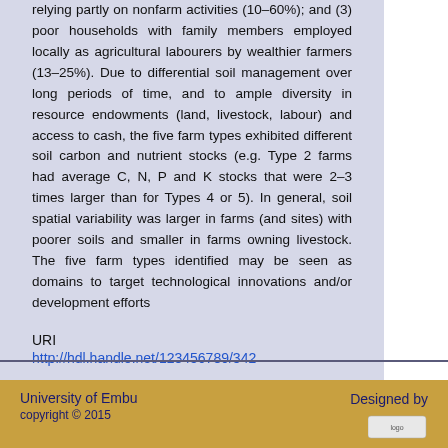relying partly on nonfarm activities (10–60%); and (3) poor households with family members employed locally as agricultural labourers by wealthier farmers (13–25%). Due to differential soil management over long periods of time, and to ample diversity in resource endowments (land, livestock, labour) and access to cash, the five farm types exhibited different soil carbon and nutrient stocks (e.g. Type 2 farms had average C, N, P and K stocks that were 2–3 times larger than for Types 4 or 5). In general, soil spatial variability was larger in farms (and sites) with poorer soils and smaller in farms owning livestock. The five farm types identified may be seen as domains to target technological innovations and/or development efforts
URI
http://hdl.handle.net/123456789/342
Collections
Articles: Department of Water and Agricultural Resource Management
University of Embu
copyright © 2015
Designed by